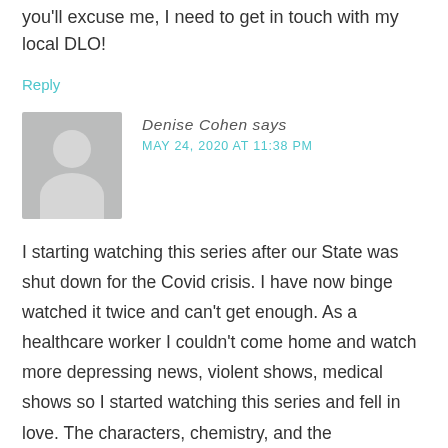you'll excuse me, I need to get in touch with my local DLO!
Reply
[Figure (illustration): Generic user avatar — grey silhouette of a person (head and shoulders) on a grey background]
Denise Cohen says
MAY 24, 2020 AT 11:38 PM
I starting watching this series after our State was shut down for the Covid crisis. I have now binge watched it twice and can't get enough. As a healthcare worker I couldn't come home and watch more depressing news, violent shows, medical shows so I started watching this series and fell in love. The characters, chemistry, and the